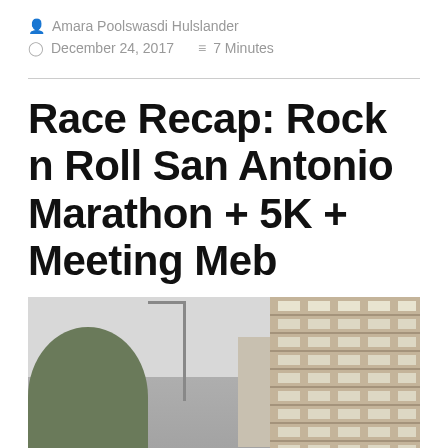Amara Poolswasdi Hulslander
December 24, 2017   7 Minutes
Race Recap: Rock n Roll San Antonio Marathon + 5K + Meeting Meb
[Figure (photo): Street-level urban scene in San Antonio showing trees on the left, a tall multi-story parking garage or office building on the right, another building in the center background, and a street light pole, all under an overcast grey sky.]